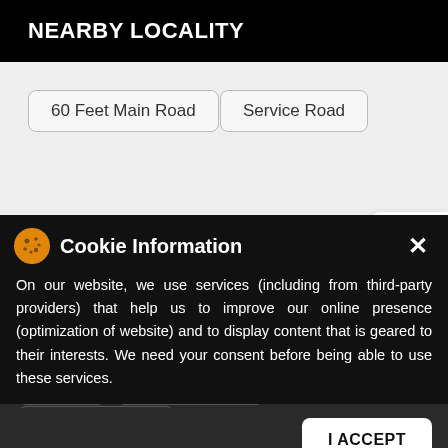NEARBY LOCALITY
60 Feet Main Road
Service Road
[Figure (screenshot): Android and Apple app store icons on white panel on the right side]
CATEGORIES
On our website, we use services (including from third-party providers) that help us to improve our online presence (optimization of website) and to display content that is geared to their interests. We need your consent before being able to use these services.
Takeaway
Non-Veg Restaurant
Fast Food Restaurant
I ACCEPT